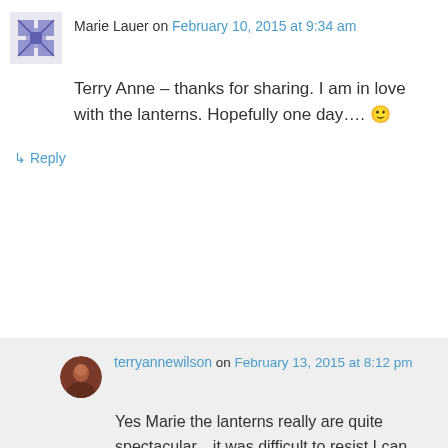Marie Lauer on February 10, 2015 at 9:34 am
Terry Anne – thanks for sharing. I am in love with the lanterns. Hopefully one day…. 🙂
↳ Reply
terryannewilson on February 13, 2015 at 8:12 pm
Yes Marie the lanterns really are quite spectacular…it was difficult to resist I can assure you!
↳ Reply